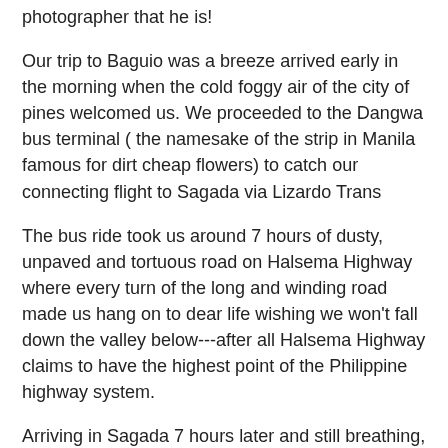photographer that he is!
Our trip to Baguio was a breeze arrived early in the morning when the cold foggy air of the city of pines welcomed us. We proceeded to the Dangwa bus terminal ( the namesake of the strip in Manila famous for dirt cheap flowers) to catch our connecting flight to Sagada via Lizardo Trans
The bus ride took us around 7 hours of dusty, unpaved and tortuous road on Halsema Highway where every turn of the long and winding road made us hang on to dear life wishing we won't fall down the valley below---after all Halsema Highway claims to have the highest point of the Philippine highway system.
Arriving in Sagada 7 hours later and still breathing, we jumped out of the the non-airconditioned bus to inhale my first lung-full of fresh Sagada air-- the tutubi finally flapped his wings in Sagada!
We checked-in at Sagada Guest House where we only shelled out P150 per night with communal toilets typical of